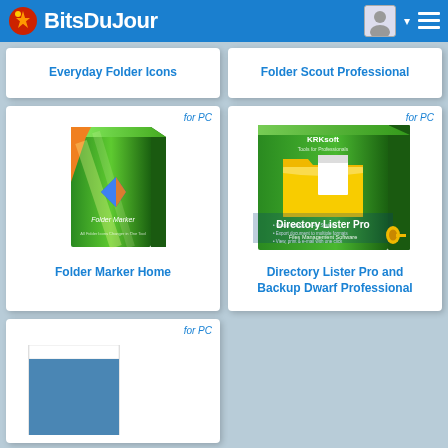BitsDuJour
Everyday Folder Icons
Folder Scout Professional
for PC
[Figure (photo): Folder Marker Home software box art - green box design]
Folder Marker Home
for PC
[Figure (photo): Directory Lister Pro software box art with yellow folder icon and green cover]
Directory Lister Pro and Backup Dwarf Professional
for PC
[Figure (screenshot): Partial screenshot of a software application with blue interface]